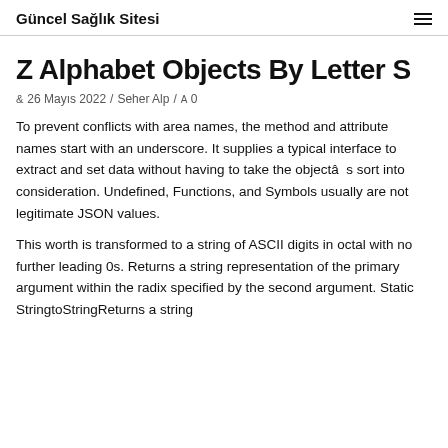Güncel Sağlık Sitesi
Z Alphabet Objects By Letter S
& 26 Mayıs 2022 / Seher Alp / A 0
To prevent conflicts with area names, the method and attribute names start with an underscore. It supplies a typical interface to extract and set data without having to take the objectâs sort into consideration. Undefined, Functions, and Symbols usually are not legitimate JSON values.
This worth is transformed to a string of ASCII digits in octal with no further leading 0s. Returns a string representation of the primary argument within the radix specified by the second argument. Static StringtoStringReturns a string